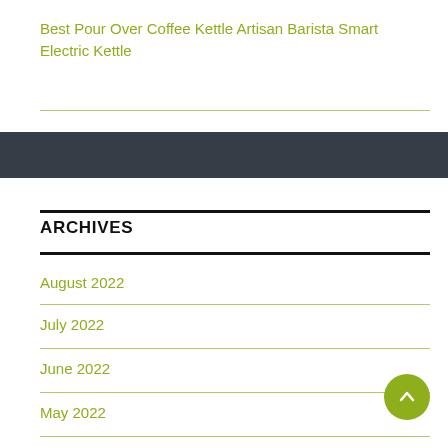Best Pour Over Coffee Kettle Artisan Barista Smart Electric Kettle
ARCHIVES
August 2022
July 2022
June 2022
May 2022